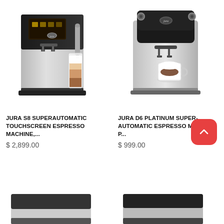[Figure (photo): JURA S8 Superautomatic Touchscreen Espresso Machine - silver and black espresso machine with latte in glass]
JURA S8 SUPERAUTOMATIC TOUCHSCREEN ESPRESSO MACHINE,...
$ 2,899.00
[Figure (photo): JURA D6 Platinum Super-Automatic Espresso Machine - black and silver espresso machine with cappuccino cup]
JURA D6 PLATINUM SUPER-AUTOMATIC ESPRESSO MACHINE, P...
$ 999.00
[Figure (photo): Partially visible espresso machine at bottom left]
[Figure (photo): Partially visible espresso machine at bottom right]